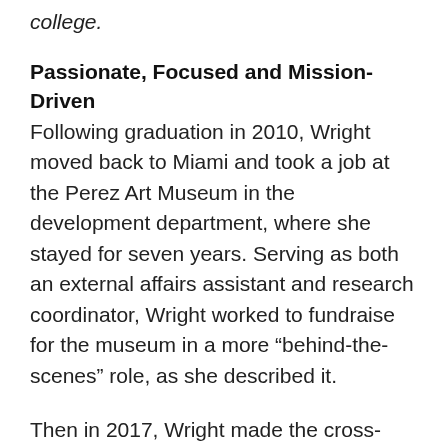college.
Passionate, Focused and Mission-Driven
Following graduation in 2010, Wright moved back to Miami and took a job at the Perez Art Museum in the development department, where she stayed for seven years. Serving as both an external affairs assistant and research coordinator, Wright worked to fundraise for the museum in a more “behind-the-scenes” role, as she described it.
Then in 2017, Wright made the cross-country trek to San Diego to take a similar job as development specialist in the individual and planned giving department at San Diego Zoo Global. The move was motivated by her desire for a job that